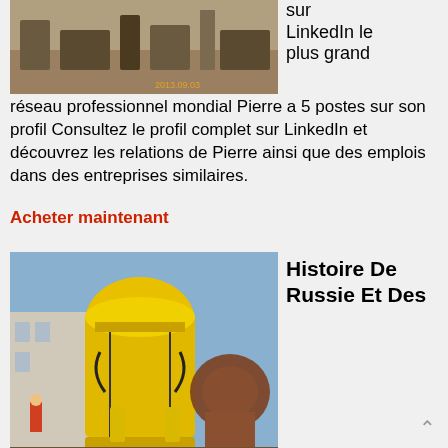[Figure (photo): Industrial mining or construction machinery at a work site, brown/sandy tones, timestamp 2013.09.03]
sur LinkedIn le plus grand réseau professionnel mondial Pierre a 5 postes sur son profil Consultez le profil complet sur LinkedIn et découvrez les relations de Pierre ainsi que des emplois dans des entreprises similaires.
Acheter maintenant
[Figure (photo): Large yellow cone crusher / mining equipment on an industrial site with other heavy machinery in background]
Histoire De Russie Et Des
Principales Nations De L Empire
Histoire De Russie Et Des Principales Nations De L Empire Russo Other Genuine Customer reviewed Unlike other